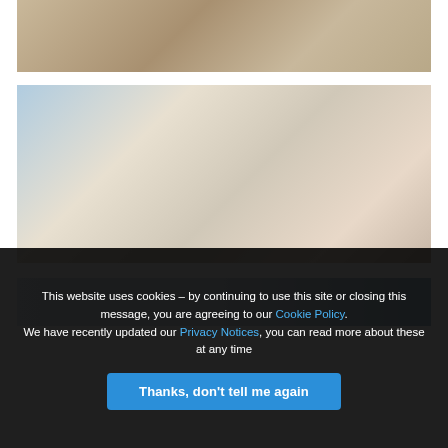[Figure (photo): Top photo: people at an indoor event, including an adult with a baby in a carrier, hands reaching over a table]
[Figure (photo): Middle photo: indoor event scene with a banner reading 'YOUR FAMILY, OUR PRIDE' for an Independent South Medical Centre, a woman in blue dress presenting, families with children, bunting decorations]
[Figure (photo): Bottom partial photo: exterior building shot partially visible]
This website uses cookies – by continuing to use this site or closing this message, you are agreeing to our Cookie Policy. We have recently updated our Privacy Notices, you can read more about these at any time
Thanks, don't tell me again